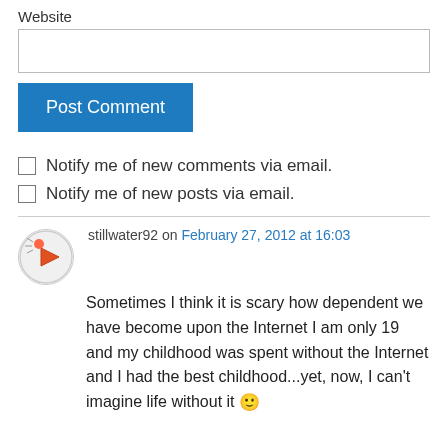Website
[Website input field]
Post Comment
Notify me of new comments via email.
Notify me of new posts via email.
stillwater92 on February 27, 2012 at 16:03
Sometimes I think it is scary how dependent we have become upon the Internet I am only 19 and my childhood was spent without the Internet and I had the best childhood...yet, now, I can't imagine life without it 🙂